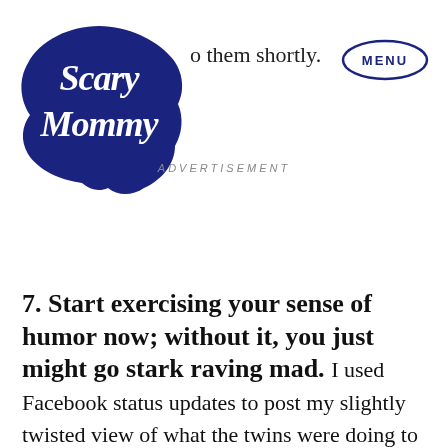o them shortly.
[Figure (logo): Scary Mommy logo — stylized cursive text in white on a dark navy cloud/blob shape]
[Figure (other): MENU button — text in navy blue inside an oval border]
ADVERTISEMENT
7. Start exercising your sense of humor now; without it, you just might go stark raving mad. I used Facebook status updates to post my slightly twisted view of what the twins were doing to me and when. It not only made me feel better, but lots of people thought it was funny as well. You'll also find that special group of people